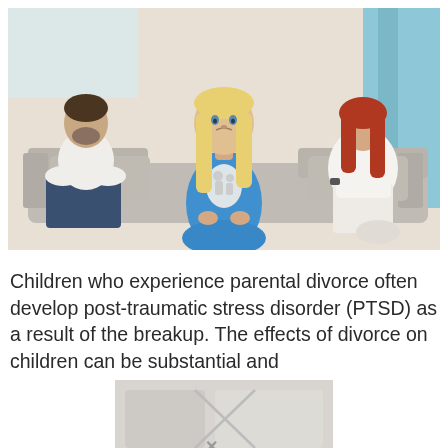[Figure (photo): A young blonde girl in a blue dress stands in the foreground looking sad, holding a paper cutout of a family. In the background, a man and woman sit on opposite ends of a couch, turned away from each other, suggesting a couple in conflict or going through divorce.]
Children who experience parental divorce often develop post-traumatic stress disorder (PTSD) as a result of the breakup. The effects of divorce on children can be substantial and
[Figure (photo): A partially visible second image showing a blurred/faded photograph, partially obscured with an X mark overlay.]